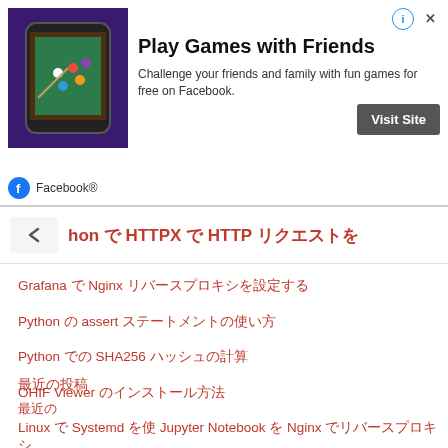[Figure (screenshot): Facebook advertisement banner: Play Games with Friends. Shows a phone with a game on purple background, Visit Site button, and Facebook logo with 'Facebook®' label.]
hon で HTTPX で HTTP リクエストを
Grafana で Nginx リバースプロキシを設定する
Python の assert ステートメントの使い方
Python での SHA256 ハッシュの計算
OHIF Viewer のインストール方法
Linux で Systemd を使 Jupyter Notebook を Nginx でリバースプロキシ
Linux マシンの CPU AES-NI サポートを確認する
CentOS Linux 7.9 からの OpenSSH 9.0p1 のインストール
最近の投稿
最近の